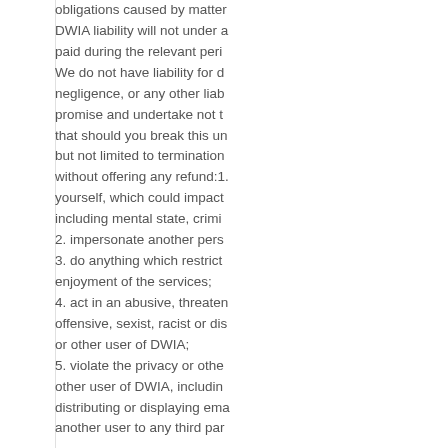obligations caused by matter DWIA liability will not under a paid during the relevant peri We do not have liability for d negligence, or any other liab promise and undertake not t that should you break this un but not limited to termination without offering any refund:1. yourself, which could impact including mental state, crimi 2. impersonate another pers 3. do anything which restrict enjoyment of the services; 4. act in an abusive, threaten offensive, sexist, racist or dis or other user of DWIA; 5. violate the privacy or othe other user of DWIA, includin distributing or displaying ema another user to any third par